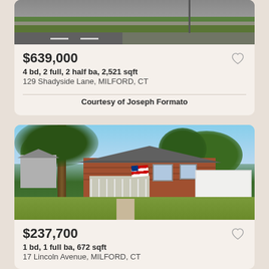[Figure (photo): Aerial/street view showing road, sidewalk, and grass strip]
$639,000
4 bd, 2 full, 2 half ba, 2,521 sqft
129 Shadyside Lane, MILFORD, CT
Courtesy of Joseph Formato
[Figure (photo): Single-story craftsman bungalow with red/brown shingles, front porch with white railings, American flag, large tree in foreground, white vinyl fence on right, green lawn]
$237,700
1 bd, 1 full ba, 672 sqft
17 Lincoln Avenue, MILFORD, CT